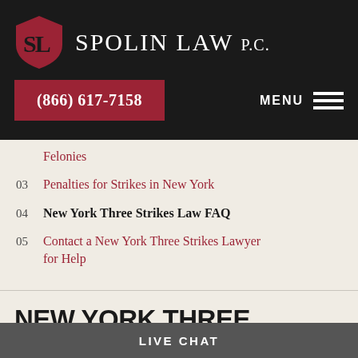Spolin Law P.C. — (866) 617-7158
Felonies
03  Penalties for Strikes in New York
04  New York Three Strikes Law FAQ
05  Contact a New York Three Strikes Lawyer for Help
NEW YORK THREE STRIKES LAW FAQ
LIVE CHAT